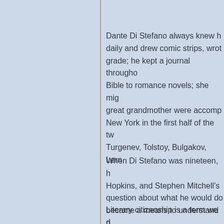Dante Di Stefano always knew he would be a writer: he kept a journal daily and drew comic strips, wrote poetry starting in the fourth grade; he kept a journal throughout high school; he read everything from the Bible to romance novels; she might have added that his mother and great grandmother were accomplished singers who performed in New York in the first half of the twentieth century, and that Turgenev, Tolstoy, Bulgakov, Lerm...
When Di Stefano was nineteen, he discovered Gerard Manley Hopkins, and Stephen Mitchell's translations... question about what he would do with his life; poetry became a means to understand p... poetry remains a form of critical e...
Literary citizenship is a term we d...